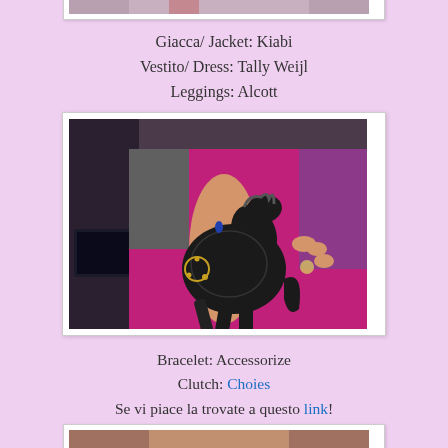[Figure (photo): Top portion of a fashion photo, cropped — partial view of clothing on a lavender background]
Giacca/ Jacket: Kiabi
Vestito/ Dress: Tally Weijl
Leggings: Alcott
[Figure (photo): Person holding a black horse-shaped clutch bag against a magenta/hot-pink top, with a charm bracelet and rings visible]
Bracelet: Accessorize
Clutch: Choies
Se vi piace la trovate a questo link!
If you like it you can find it here!
[Figure (photo): Bottom cropped fashion photo, partially visible]